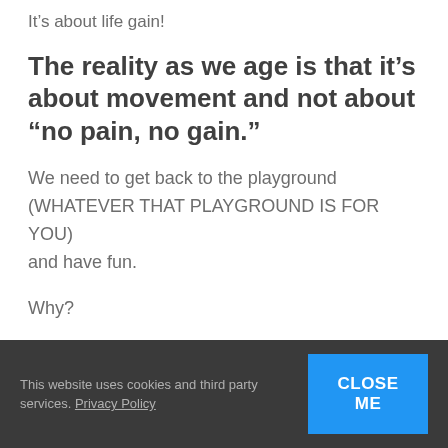It's about life gain!
The reality as we age is that it's about movement and not about “no pain, no gain.”
We need to get back to the playground (WHATEVER THAT PLAYGROUND IS FOR YOU) and have fun.
Why?
So that you can:
This website uses cookies and third party services. Privacy Policy